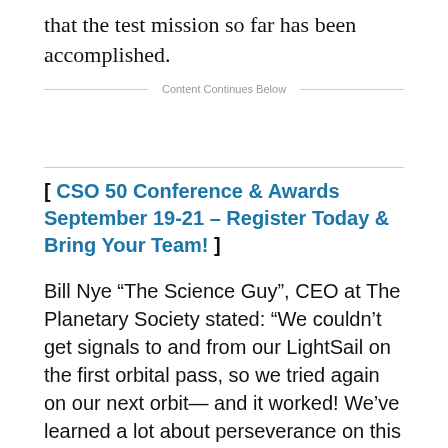that the test mission so far has been accomplished.
Content Continues Below
[ CSO 50 Conference & Awards September 19-21 – Register Today & Bring Your Team! ]
Bill Nye “The Science Guy”, CEO at The Planetary Society stated: “We couldn’t get signals to and from our LightSail on the first orbital pass, so we tried again on our next orbit— and it worked! We’ve learned a lot about perseverance on this test mission. Although it’s in inertial space, LightSail has had me on a rollercoaster. I want to thank the engineering team; they’ve done fantastic work. I especially want to